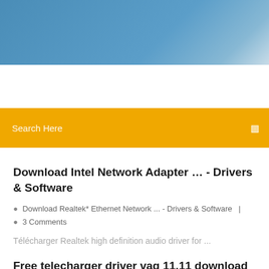[Figure (photo): Blue sky gradient banner image at the top of the page]
Search Here
Download Intel Network Adapter … - Drivers & Software
Download Realtek* Ethernet Network ... - Drivers & Software  |  3 Comments
Télécharger Realtek high definition audio driver for ...
Free telecharger driver vag 11.11 download software at UpdateStar -